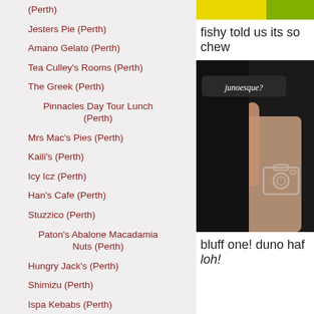(Perth)
Jesters Pie (Perth)
Amano Gelato (Perth)
Tea Culley's Rooms (Perth)
The Greek (Perth)
Pinnacles Day Tour Lunch (Perth)
Mrs Mac's Pies (Perth)
Kaili's (Perth)
Icy Icz (Perth)
Han's Cafe (Perth)
Stuzzico (Perth)
Paton's Abalone Macadamia Nuts (Perth)
Hungry Jack's (Perth)
Shimizu (Perth)
Ispa Kebabs (Perth)
The Margaret River Chocolate Company (Perth)
fishy told us its so chew
[Figure (photo): A hand touching a chalkboard sign reading 'junoesque?' with a camera icon overlay]
bluff one! duno haf loh!